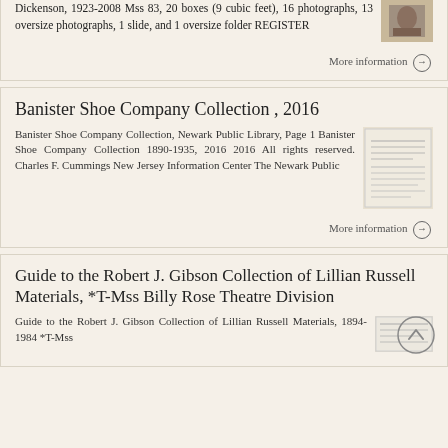Dickenson, 1923-2008 Mss 83, 20 boxes (9 cubic feet), 16 photographs, 13 oversize photographs, 1 slide, and 1 oversize folder REGISTER
More information →
Banister Shoe Company Collection , 2016
Banister Shoe Company Collection, Newark Public Library, Page 1 Banister Shoe Company Collection 1890-1935, 2016 2016 All rights reserved. Charles F. Cummings New Jersey Information Center The Newark Public
[Figure (photo): Thumbnail image of a document page with text lines]
More information →
Guide to the Robert J. Gibson Collection of Lillian Russell Materials, *T-Mss Billy Rose Theatre Division
Guide to the Robert J. Gibson Collection of Lillian Russell Materials, 1894-1984 *T-Mss
[Figure (photo): Thumbnail image of a document page with text lines]